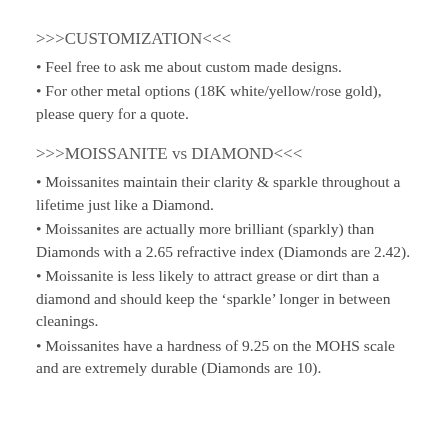>>>CUSTOMIZATION<<<
• Feel free to ask me about custom made designs.
• For other metal options (18K white/yellow/rose gold), please query for a quote.
>>>MOISSANITE vs DIAMOND<<<
• Moissanites maintain their clarity & sparkle throughout a lifetime just like a Diamond.
• Moissanites are actually more brilliant (sparkly) than Diamonds with a 2.65 refractive index (Diamonds are 2.42).
• Moissanite is less likely to attract grease or dirt than a diamond and should keep the ‘sparkle’ longer in between cleanings.
• Moissanites have a hardness of 9.25 on the MOHS scale and are extremely durable (Diamonds are 10).